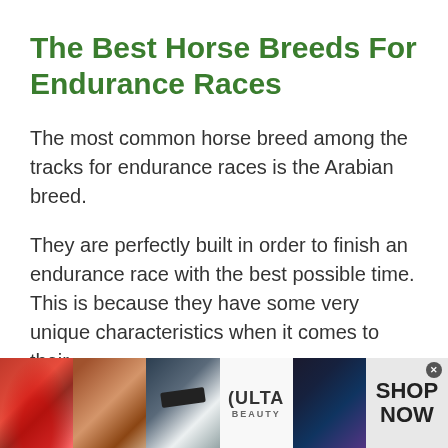The Best Horse Breeds For Endurance Races
The most common horse breed among the tracks for endurance races is the Arabian breed.
They are perfectly built in order to finish an endurance race with the best possible time. This is because they have some very unique characteristics when it comes to their
[Figure (screenshot): Advertisement banner for ULTA Beauty featuring makeup images (lips, makeup brush, eye with lashes, ULTA logo, eye with makeup) and a SHOP NOW call-to-action button with a close (x) button.]